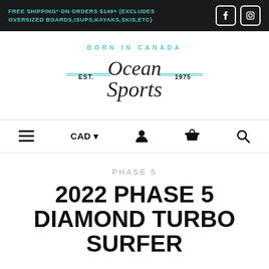FREE SHIPPING* ON ORDERS $149+ (EXCLUDES OVERSIZED BOARDS,ISUPS,KAYAKS,SKIS,ETC)
[Figure (logo): Ocean Sports logo — Born In Canada, Est. 1975, with decorative script lettering and teal horizontal rules]
[Figure (screenshot): Navigation bar with hamburger menu, CAD currency selector, user icon, cart icon, and search icon]
PHASE 5
2022 PHASE 5 DIAMOND TURBO SURFER